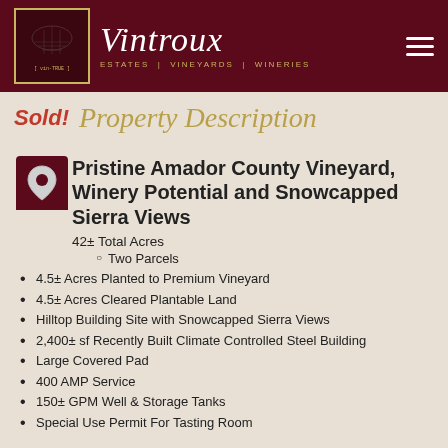Vintroux ESTATES | VINEYARDS | WINERIES
Sold! Property Description
Pristine Amador County Vineyard, Winery Potential and Snowcapped Sierra Views
42± Total Acres
Two Parcels
4.5± Acres Planted to Premium Vineyard
4.5± Acres Cleared Plantable Land
Hilltop Building Site with Snowcapped Sierra Views
2,400± sf Recently Built Climate Controlled Steel Building
Large Covered Pad
400 AMP Service
150± GPM Well & Storage Tanks
Special Use Permit For Tasting Room